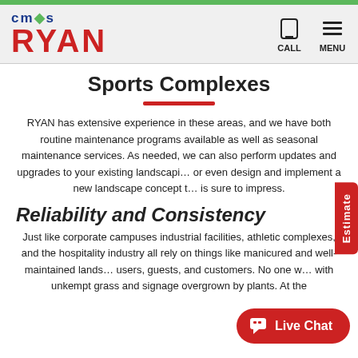[Figure (logo): CMS Ryan landscaping company logo with green leaf and red RYAN text]
Sports Complexes
RYAN has extensive experience in these areas, and we have both routine maintenance programs available as well as seasonal maintenance services. As needed, we can also perform updates and upgrades to your existing landscaping or even design and implement a new landscape concept that is sure to impress.
Reliability and Consistency
Just like corporate campuses industrial facilities, athletic complexes, and the hospitality industry all rely on things like manicured and well-maintained landscaping to impress users, guests, and customers. No one wants to be greeted with unkempt grass and signage overgrown by plants. At the